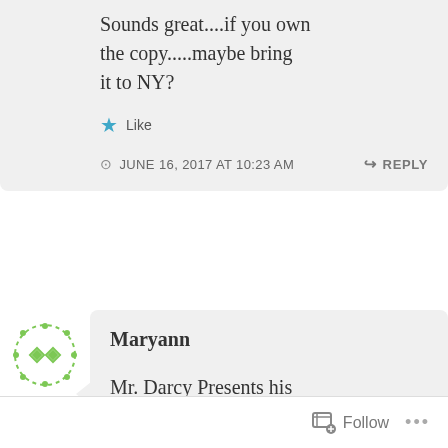Sounds great....if you own the copy.....maybe bring it to NY?
Like
JUNE 16, 2017 AT 10:23 AM
REPLY
[Figure (illustration): Green dotted circle avatar icon with diamond/rhombus pattern for user Maryann]
Maryann
Mr. Darcy Presents his Bride, the title is self
Follow